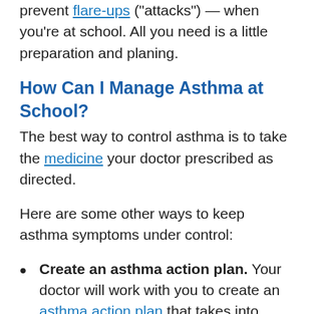prevent flare-ups ("attacks") — when you're at school. All you need is a little preparation and planing.
How Can I Manage Asthma at School?
The best way to control asthma is to take the medicine your doctor prescribed as directed.
Here are some other ways to keep asthma symptoms under control:
Create an asthma action plan. Your doctor will work with you to create an asthma action plan that takes into account your school schedule and activities. The plan may include your medicines and when and how to take them, things to watch out for that can trigger an asthma flare-up, early signs of a flare-up, what to do if you have a flare-up, and when it's an emergency.